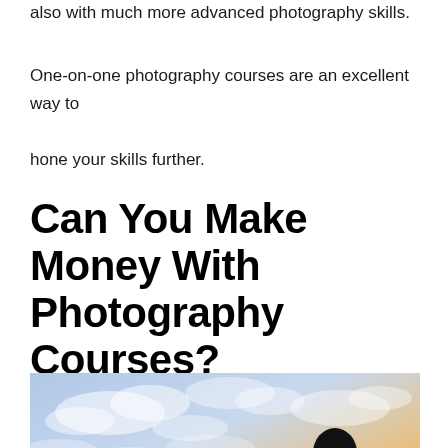also with much more advanced photography skills.
One-on-one photography courses are an excellent way to hone your skills further.
Can You Make Money With Photography Courses?
[Figure (photo): Silhouette of a photographer holding a camera with telephoto lens against a dramatic sky with clouds and blue and orange hues.]